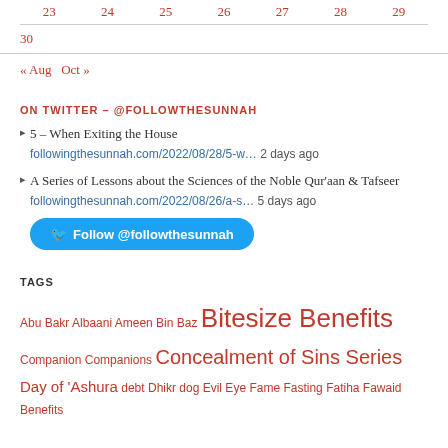| 23 | 24 | 25 | 26 | 27 | 28 | 29 |
| --- | --- | --- | --- | --- | --- | --- |
| 30 |  |  |  |  |  |  |
« Aug   Oct »
ON TWITTER – @FOLLOWTHESUNNAH
5 – When Exiting the House  followingthesunnah.com/2022/08/28/5-w…  2 days ago
A Series of Lessons about the Sciences of the Noble Qur'aan & Tafseer  followingthesunnah.com/2022/08/26/a-s…  5 days ago
Follow @followthesunnah
TAGS
Abu Bakr  Albaani  Ameen  Bin Baz  Bitesize Benefits  Companion  Companions  Concealment of Sins Series  Day of 'Ashura  debt  Dhikr  dog  Evil Eye  Fame  Fasting  Fatiha  Fawaid Benefits  Following The Sunnah Articles